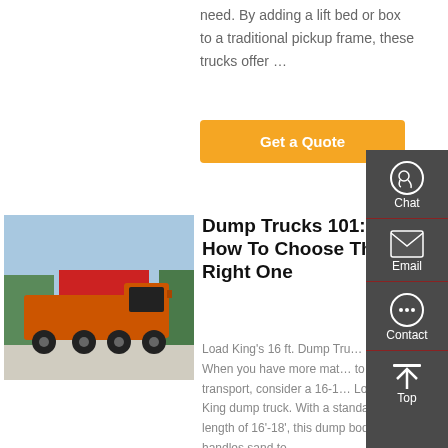need. By adding a lift bed or box to a traditional pickup frame, these trucks offer …
Get a Quote
[Figure (photo): Orange heavy-duty dump truck / tractor unit parked in a yard with Chinese signage in the background]
Dump Trucks 101: How To Choose The Right One
Load King's 16 ft. Dump Tru… When you have more mat… to transport, consider a 16-1… Load King dump truck. With a standard length of 16'-18', this dump body handles sand to
Chat
Email
Contact
Top